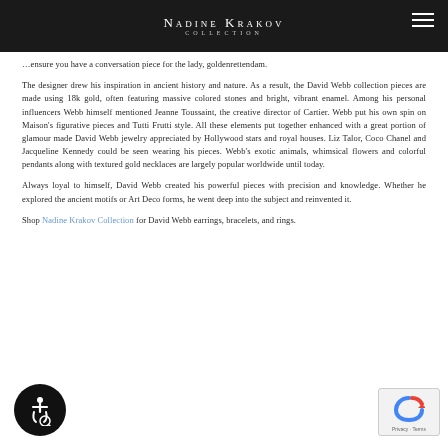Nadine Krakov Collection
…ensure you have a conversation piece for the lady, goldenrettendam.
The designer drew his inspiration in ancient history and nature. As a result, the David Webb collection pieces are made using 18k gold, often featuring massive colored stones and bright, vibrant enamel. Among his personal influencers Webb himself mentioned Jeanne Toussaint, the creative director of Cartier. Webb put his own spin on Maison's figurative pieces and Tutti Frutti style. All these elements put together enhanced with a great portion of glamour made David Webb jewelry appreciated by Hollywood stars and royal houses. Liz Talor, Coco Chanel and Jacqueline Kennedy could be seen wearing his pieces. Webb's exotic animals, whimsical flowers and colorful pendants along with textured gold necklaces are largely popular worldwide until today.
Always loyal to himself, David Webb created his powerful pieces with precision and knowledge. Whether he explored the ancient motifs or Art Deco forms, he went deep into the subject and reinvented it.
Shop Nadine Krakov Collection for David Webb earrings, bracelets, and rings.